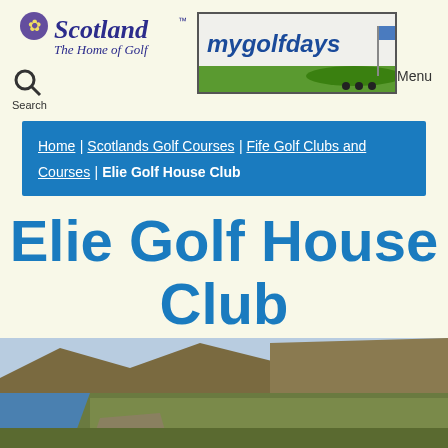[Figure (logo): Scotland The Home of Golf logo with thistle icon, italic serif text in dark blue/purple]
[Figure (logo): mygolfdays banner/logo showing script text on white background with green golf green and flag]
Search
Menu
Home | Scotlands Golf Courses | Fife Golf Clubs and Courses | Elie Golf House Club
Elie Golf House Club
[Figure (photo): Landscape photo of a golf course with coastal cliffs and hills in background, blue water visible on left side]